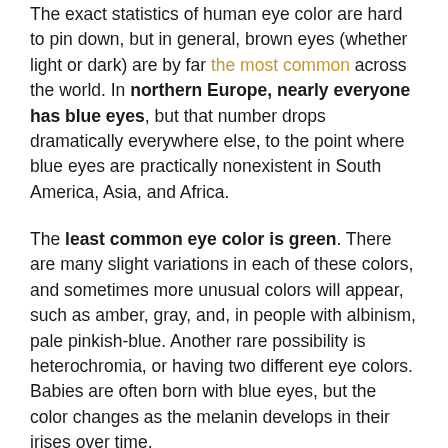The exact statistics of human eye color are hard to pin down, but in general, brown eyes (whether light or dark) are by far the most common across the world. In northern Europe, nearly everyone has blue eyes, but that number drops dramatically everywhere else, to the point where blue eyes are practically nonexistent in South America, Asia, and Africa.
The least common eye color is green. There are many slight variations in each of these colors, and sometimes more unusual colors will appear, such as amber, gray, and, in people with albinism, pale pinkish-blue. Another rare possibility is heterochromia, or having two different eye colors. Babies are often born with blue eyes, but the color changes as the melanin develops in their irises over time.
Behind Blue Eyes: Eye Color Genetics